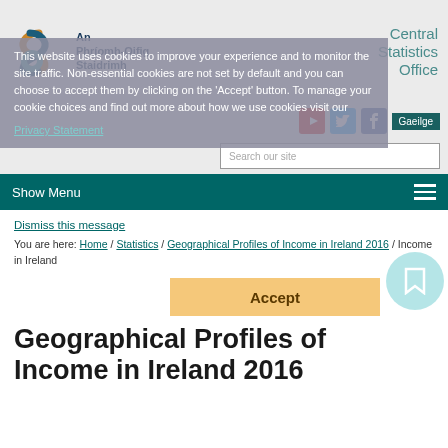[Figure (logo): Central Statistics Office (An Phríomh-Oifig Staidrimh) logo with twisted ribbon graphic in teal, gold, and dark blue]
An Phríomh-Oifig Staidrimh / Central Statistics Office
This website uses cookies to improve your experience and to monitor the site traffic. Non-essential cookies are not set by default and you can choose to accept them by clicking on the 'Accept' button. To manage your cookie choices and find out more about how we use cookies visit our Privacy Statement
Show Menu
Dismiss this message
You are here: Home / Statistics / Geographical Profiles of Income in Ireland 2016 / Income in Ireland
Geographical Profiles of Income in Ireland 2016